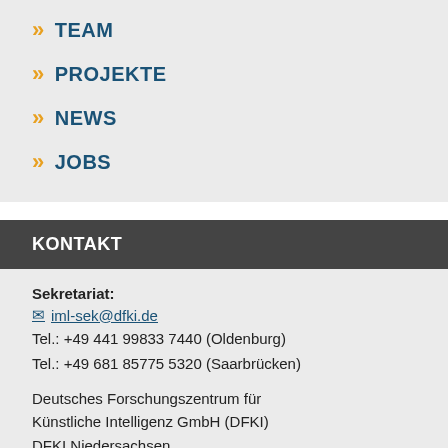» TEAM
» PROJEKTE
» NEWS
» JOBS
KONTAKT
Sekretariat:
✉ iml-sek@dfki.de
Tel.: +49 441 99833 7440 (Oldenburg)
Tel.: +49 681 85775 5320 (Saarbrücken)
Deutsches Forschungszentrum für Künstliche Intelligenz GmbH (DFKI)
DFKI Niedersachsen
Interaktives Maschinelles Lernen